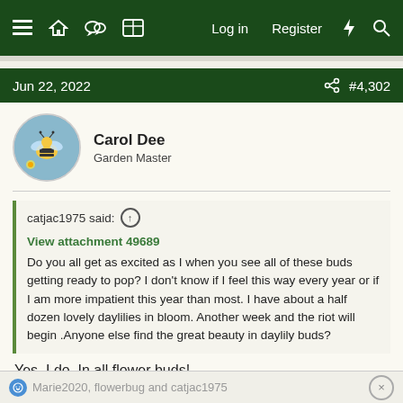Log in  Register
Jun 22, 2022  #4,302
Carol Dee
Garden Master
catjac1975 said: ↑
View attachment 49689
Do you all get as excited as I when you see all of these buds getting ready to pop? I don't know if I feel this way every year or if I am more impatient this year than most. I have about a half dozen lovely daylilies in bloom. Another week and the riot will begin .Anyone else find the great beauty in daylily buds?
Yes, I do. In all flower buds!
Marie2020, flowerbug and catjac1975